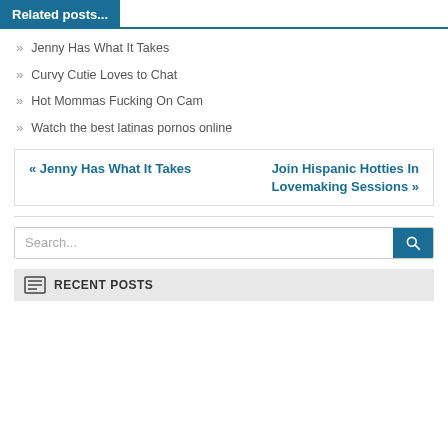Related posts...
Jenny Has What It Takes
Curvy Cutie Loves to Chat
Hot Mommas Fucking On Cam
Watch the best latinas pornos online
« Jenny Has What It Takes    Join Hispanic Hotties In Lovemaking Sessions »
Search...
RECENT POSTS